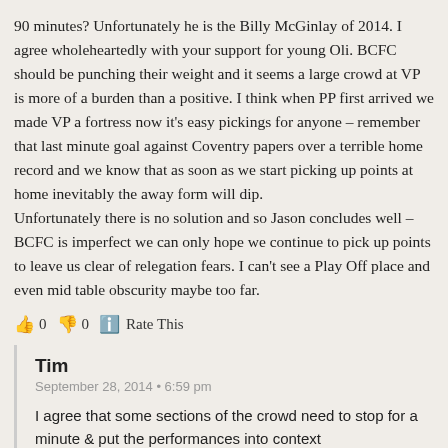90 minutes? Unfortunately he is the Billy McGinlay of 2014. I agree wholeheartedly with your support for young Oli. BCFC should be punching their weight and it seems a large crowd at VP is more of a burden than a positive. I think when PP first arrived we made VP a fortress now it's easy pickings for anyone – remember that last minute goal against Coventry papers over a terrible home record and we know that as soon as we start picking up points at home inevitably the away form will dip.
Unfortunately there is no solution and so Jason concludes well – BCFC is imperfect we can only hope we continue to pick up points to leave us clear of relegation fears. I can't see a Play Off place and even mid table obscurity maybe too far.
👍 0 👎 0 ℹ️ Rate This
Tim
September 28, 2014 • 6:59 pm
I agree that some sections of the crowd need to stop for a minute & put the performances into context